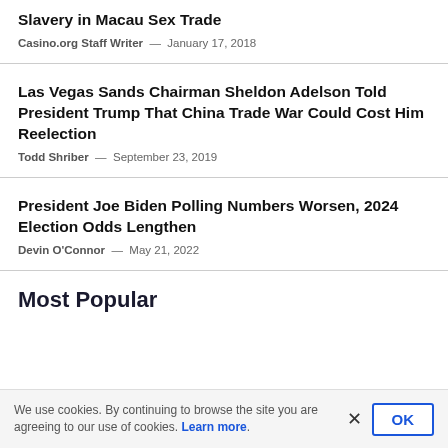Slavery in Macau Sex Trade
Casino.org Staff Writer — January 17, 2018
Las Vegas Sands Chairman Sheldon Adelson Told President Trump That China Trade War Could Cost Him Reelection
Todd Shriber — September 23, 2019
President Joe Biden Polling Numbers Worsen, 2024 Election Odds Lengthen
Devin O'Connor — May 21, 2022
Most Popular
We use cookies. By continuing to browse the site you are agreeing to our use of cookies. Learn more.